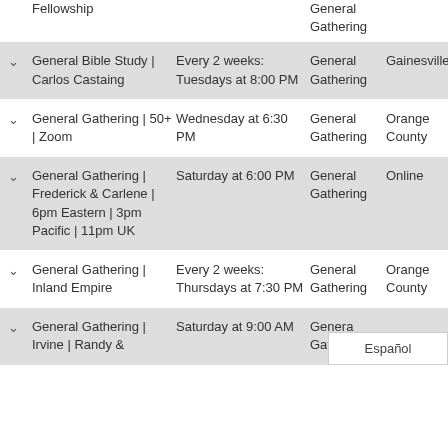Fellowship | General Gathering
General Bible Study | Carlos Castaing — Every 2 weeks: Tuesdays at 8:00 PM — General Gathering — Gainesville
General Gathering | 50+ | Zoom — Wednesday at 6:30 PM — General Gathering — Orange County
General Gathering | Frederick & Carlene | 6pm Eastern | 3pm Pacific | 11pm UK — Saturday at 6:00 PM — General Gathering — Online
General Gathering | Inland Empire — Every 2 weeks: Thursdays at 7:30 PM — General Gathering — Orange County
General Gathering | Irvine | Randy & — Saturday at 9:00 AM — General Gathering — Español